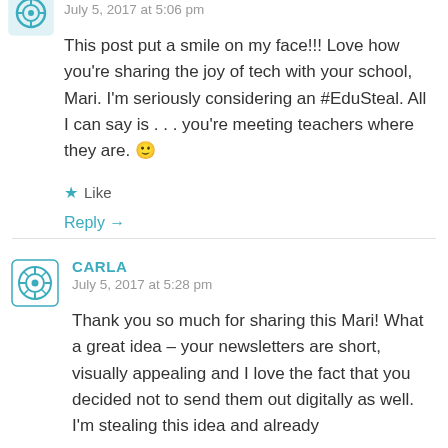July 5, 2017 at 5:06 pm
This post put a smile on my face!!! Love how you're sharing the joy of tech with your school, Mari. I'm seriously considering an #EduSteal. All I can say is . . . you're meeting teachers where they are. 🙂
Like
Reply →
CARLA
July 5, 2017 at 5:28 pm
Thank you so much for sharing this Mari! What a great idea – your newsletters are short, visually appealing and I love the fact that you decided not to send them out digitally as well. I'm stealing this idea and already